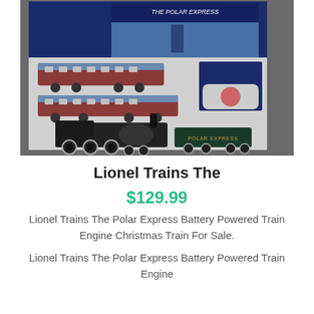[Figure (photo): Lionel Trains The Polar Express train set in packaging, showing locomotive engine, passenger cars, and box with Polar Express movie artwork]
Lionel Trains The
$129.99
Lionel Trains The Polar Express Battery Powered Train Engine Christmas Train For Sale.
Lionel Trains The Polar Express Battery Powered Train Engine